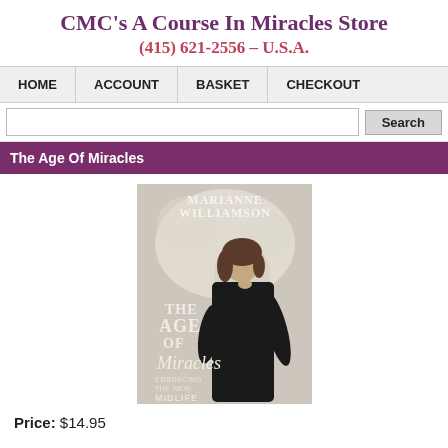CMC's A Course In Miracles Store
(415) 621-2556 – U.S.A.
HOME | ACCOUNT | BASKET | CHECKOUT
The Age Of Miracles
[Figure (photo): Book cover of 'The Age of Miracles: Embracing the New Midlife' by Marianne Williamson. Shows a woman in a black outfit with the title text overlaid.]
Price: $14.95